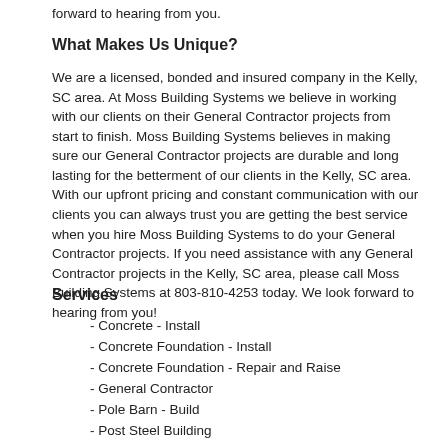forward to hearing from you.
What Makes Us Unique?
We are a licensed, bonded and insured company in the Kelly, SC area. At Moss Building Systems we believe in working with our clients on their General Contractor projects from start to finish. Moss Building Systems believes in making sure our General Contractor projects are durable and long lasting for the betterment of our clients in the Kelly, SC area. With our upfront pricing and constant communication with our clients you can always trust you are getting the best service when you hire Moss Building Systems to do your General Contractor projects. If you need assistance with any General Contractor projects in the Kelly, SC area, please call Moss Building Systems at 803-810-4253 today. We look forward to hearing from you!
Services
- Concrete - Install
- Concrete Foundation - Install
- Concrete Foundation - Repair and Raise
- General Contractor
- Pole Barn - Build
- Post Steel Building
- Shed, Barn, or Playhouse - Build
- Shed, Barn, or Playhouse - Repair